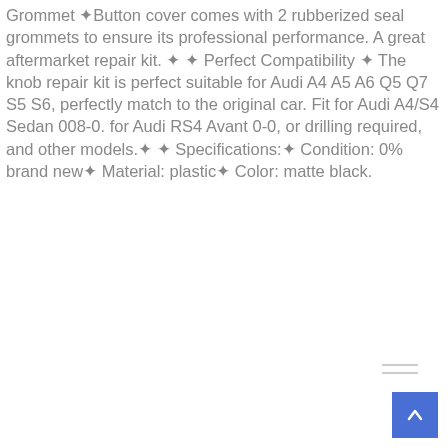Grommet ✦Button cover comes with 2 rubberized seal grommets to ensure its professional performance. A great aftermarket repair kit. ✦ ✦ Perfect Compatibility ✦ The knob repair kit is perfect suitable for Audi A4 A5 A6 Q5 Q7 S5 S6, perfectly match to the original car. Fit for Audi A4/S4 Sedan 008-0. for Audi RS4 Avant 0-0, or drilling required, and other models.✦ ✦ Specifications:✦ Condition: 0% brand new✦ Material: plastic✦ Color: matte black.